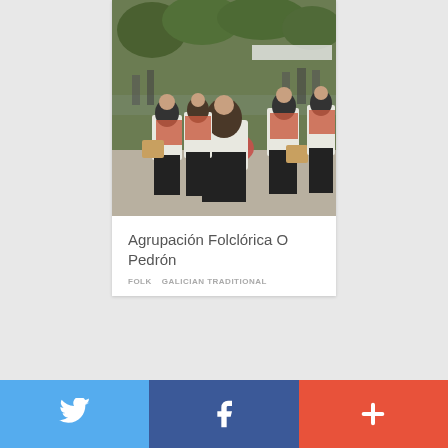[Figure (photo): Group of women in traditional Galician folk costumes (white blouses, black skirts, decorated vests) playing drums/percussion instruments in an outdoor procession, with trees and market stalls in the background.]
Agrupación Folclórica O Pedrón
FOLK   GALICIAN TRADITIONAL
[Figure (photo): Partial view of a second card showing people, cut off at the bottom of the page.]
Twitter   Facebook   +